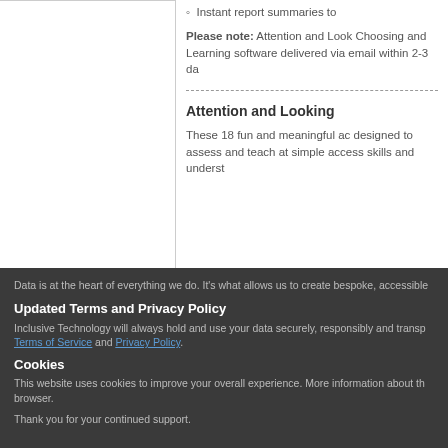Instant report summaries to
Please note: Attention and Look Choosing and Learning software delivered via email within 2-3 da
Attention and Looking
These 18 fun and meaningful ac designed to assess and teach at simple access skills and underst
Data is at the heart of everything we do. It's what allows us to create bespoke, accessible
Updated Terms and Privacy Policy
Inclusive Technology will always hold and use your data securely, responsibly and transp Terms of Service and Privacy Policy.
Cookies
This website uses cookies to improve your overall experience. More information about th browser.
Thank you for your continued support.